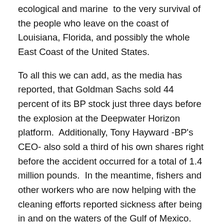ecological and marine  to the very survival of the people who leave on the coast of Louisiana, Florida, and possibly the whole East Coast of the United States.
To all this we can add, as the media has reported, that Goldman Sachs sold 44 percent of its BP stock just three days before the explosion at the Deepwater Horizon platform.  Additionally, Tony Hayward -BP's CEO- also sold a third of his own shares right before the accident occurred for a total of 1.4 million pounds.  In the meantime, fishers and other workers who are now helping with the cleaning efforts reported sickness after being in and on the waters of the Gulf of Mexico.  As channel 6, WSDU, reported, workers are experiencing illness, strong stomachache, respiratory problems, coughing and other symptoms of intoxication due to the inhalation of fumes from both the chemicals and the gases emanating from